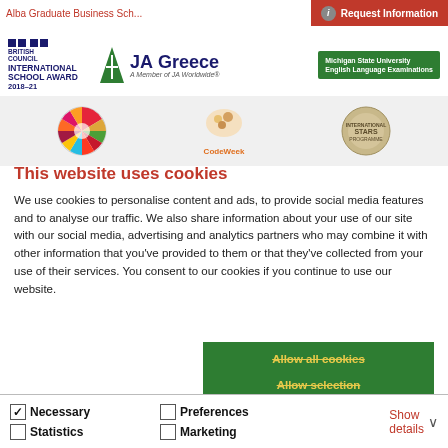Alba Graduate Business School — Request Information
[Figure (logo): British Council International School Award 2018-21, JA Greece, Michigan State University English Language Examinations logos]
[Figure (logo): SDG wheel, CodeWeek, and STARS logos]
This website uses cookies
We use cookies to personalise content and ads, to provide social media features and to analyse our traffic. We also share information about your use of our site with our social media, advertising and analytics partners who may combine it with other information that you've provided to them or that they've collected from your use of their services. You consent to our cookies if you continue to use our website.
Allow all cookies
Allow selection
Use necessary cookies only
Necessary  Preferences  Statistics  Marketing  Show details